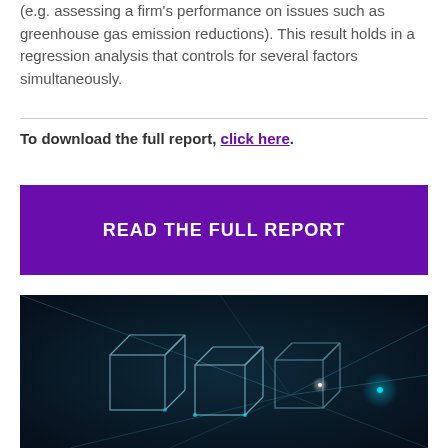(e.g. assessing a firm's performance on issues such as greenhouse gas emission reductions). This result holds in a regression analysis that controls for several factors simultaneously.
To download the full report, click here.
[Figure (other): Purple call-to-action button reading READ THE FULL REPORT]
[Figure (photo): Dark blue background with glowing geometric cube wireframes and light rays, technology/blockchain themed image]